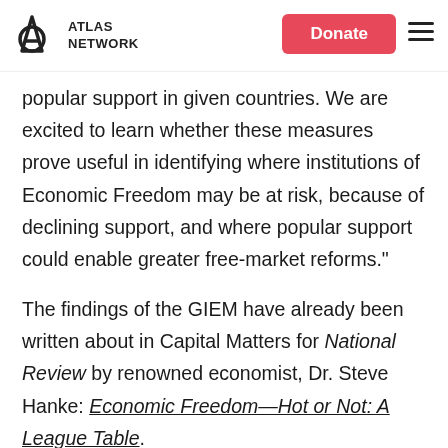ATLAS NETWORK | Donate | [hamburger menu]
popular support in given countries. We are excited to learn whether these measures prove useful in identifying where institutions of Economic Freedom may be at risk, because of declining support, and where popular support could enable greater free-market reforms."
The findings of the GIEM have already been written about in Capital Matters for National Review by renowned economist, Dr. Steve Hanke: Economic Freedom—Hot or Not: A League Table.
The GIEM was developed by Carlos Newland (ESEADE